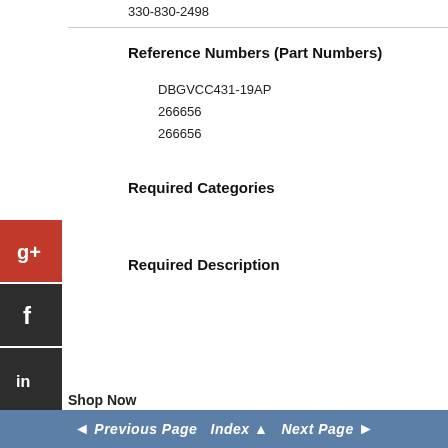330-830-2498
Reference Numbers (Part Numbers)
DBGVCC431-19AP
266656
266656
Required Categories
Required Description
Shop Now
◄ Previous Page   Index ▲   Next Page ►